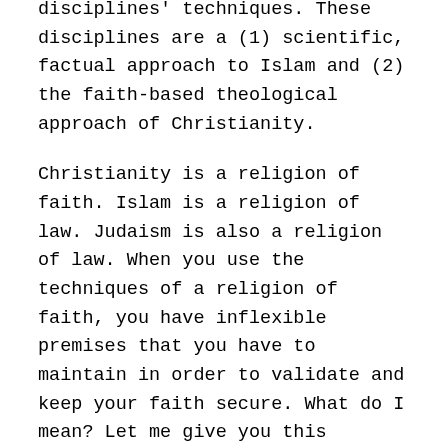disciplines' techniques. These disciplines are a (1) scientific, factual approach to Islam and (2) the faith-based theological approach of Christianity.
Christianity is a religion of faith. Islam is a religion of law. Judaism is also a religion of law. When you use the techniques of a religion of faith, you have inflexible premises that you have to maintain in order to validate and keep your faith secure. What do I mean? Let me give you this example:
The Qur'an refers to Prophet Yunus (Jonah) who was swallowed up by a whale. Scientifically, we know that it would be highly improbable (if not impossible) for